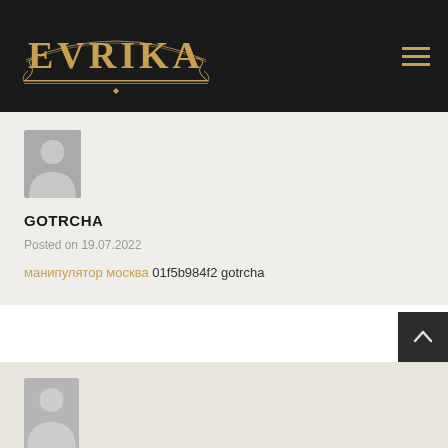EVRIKA
[Figure (logo): EVRIKA ornate logo with decorative flourishes on dark background]
[Figure (illustration): Default user avatar silhouette (person icon) in grey square]
GOTRCHA
Posted on 19.07.2022
манипулятор москва 01f5b984f2 gotrcha
[Figure (illustration): Default user avatar silhouette (person icon) in grey square, partially visible]